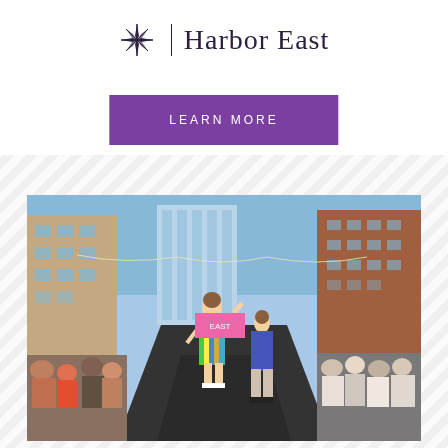[Figure (logo): Harbor East logo with compass star icon and vertical divider, dark navy/purple color]
LEARN MORE
[Figure (photo): Outdoor fashion show on a city street (Harbor East). A model in colorful blue/yellow/green romper waves to crowd. Another model in blue jacket walks runway. Large audience on both sides. Buildings visible in background against blue sky.]